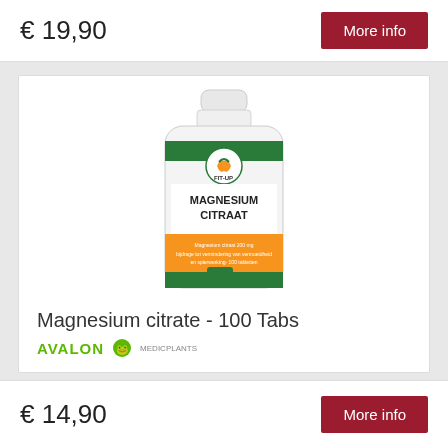€ 19,90
More info
[Figure (photo): White supplement bottle with green and orange label reading MAGNESIUM CITRAAT, FIT-UP brand, 100 tablets]
Magnesium citrate - 100 Tabs
AVALON
€ 14,90
More info